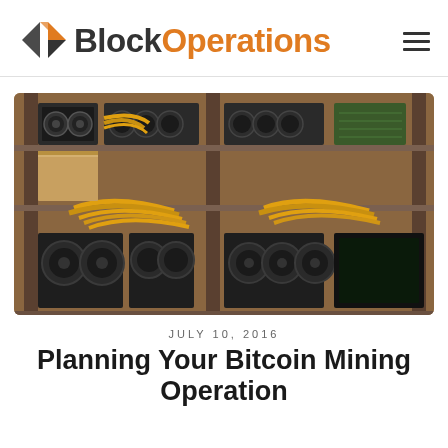Block Operations
[Figure (photo): Rows of Bitcoin ASIC mining rigs stacked on metal shelving racks with yellow and black power cables running between them, photographed in a mining facility.]
JULY 10, 2016
Planning Your Bitcoin Mining Operation